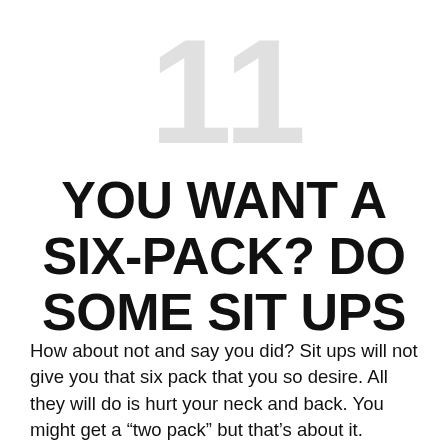11
YOU WANT A SIX-PACK? DO SOME SIT UPS
How about not and say you did? Sit ups will not give you that six pack that you so desire. All they will do is hurt your neck and back. You might get a “two pack” but that’s about it. Instead do planks